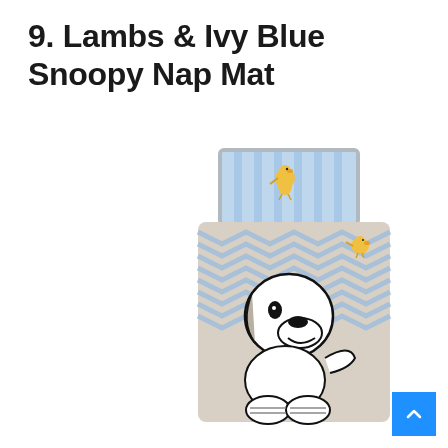9. Lambs & Ivy Blue Snoopy Nap Mat
[Figure (photo): A Lambs & Ivy Blue Snoopy Nap Mat shown from above. The mat features a blue and grey chevron pattern with a large Snoopy character on the lower portion and Woodstock bird characters. The attached pillow has a blue and white stripe pattern with a Woodstock embroidery.]